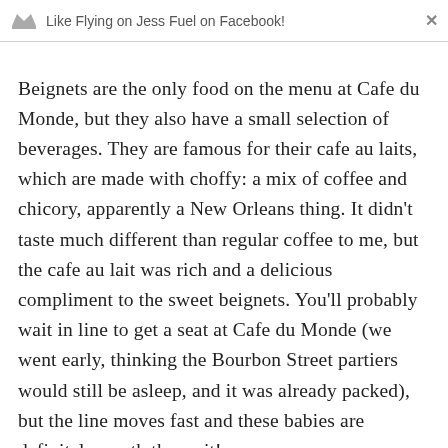Like Flying on Jess Fuel on Facebook!
Beignets are the only food on the menu at Cafe du Monde, but they also have a small selection of beverages. They are famous for their cafe au laits, which are made with choffy: a mix of coffee and chicory, apparently a New Orleans thing. It didn't taste much different than regular coffee to me, but the cafe au lait was rich and a delicious compliment to the sweet beignets. You'll probably wait in line to get a seat at Cafe du Monde (we went early, thinking the Bourbon Street partiers would still be asleep, and it was already packed), but the line moves fast and these babies are definitely worth the wait!